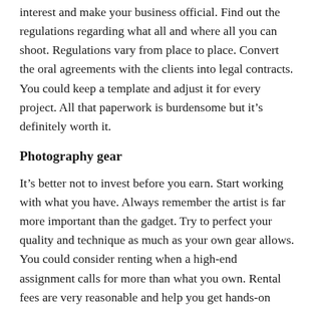interest and make your business official. Find out the regulations regarding what all and where all you can shoot. Regulations vary from place to place. Convert the oral agreements with the clients into legal contracts. You could keep a template and adjust it for every project. All that paperwork is burdensome but it's definitely worth it.
Photography gear
It's better not to invest before you earn. Start working with what you have. Always remember the artist is far more important than the gadget. Try to perfect your quality and technique as much as your own gear allows. You could consider renting when a high-end assignment calls for more than what you own. Rental fees are very reasonable and help you get hands-on